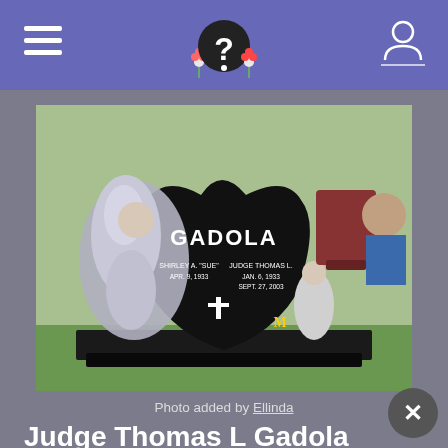Navigation header with hamburger menu, site logo with question mark, and profile icon
[Figure (photo): Gravestone photo showing a black heart-shaped monument with angel wings on the sides, reading GADOLA, with details for Shirley A. 'Sue' and Judge Thomas L., with a cross in the center]
Photo added by Ellinda
Judge Thomas L Gadola
BIRTH   6 Jan 1933
Michigan, USA
DEATH   27 Aug 2003 (aged 70)